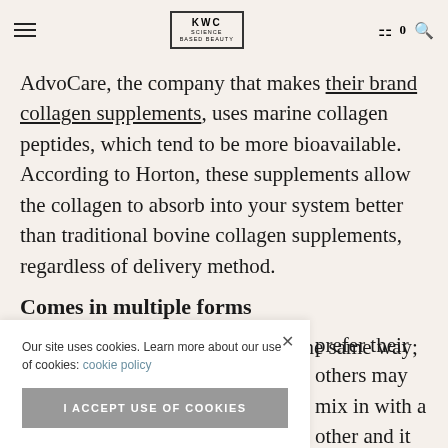KWC | Navigation bar with hamburger menu, KWC logo, cart (0), and search icon
AdvoCare, the company that makes their brand collagen supplements, uses marine collagen peptides, which tend to be more bioavailable. According to Horton, these supplements allow the collagen to absorb into your system better than traditional bovine collagen supplements, regardless of delivery method.
Comes in multiple forms
Not everyone takes supplements the same way; they prefer their others may mix in with a other and it
Our site uses cookies. Learn more about our use of cookies: cookie policy
I ACCEPT USE OF COOKIES